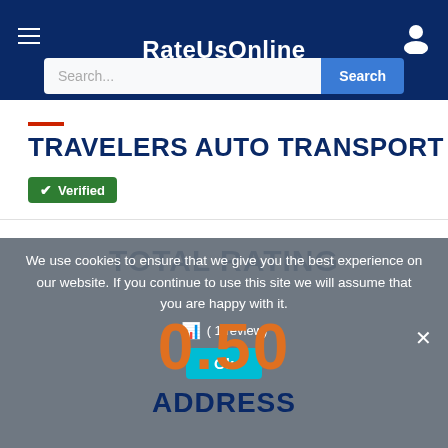RateUsOnline
TRAVELERS AUTO TRANSPORT
✔ Verified
TOTAL RATING
We use cookies to ensure that we give you the best experience on our website. If you continue to use this site we will assume that you are happy with it.
0.50
( 1 review)
ADDRESS